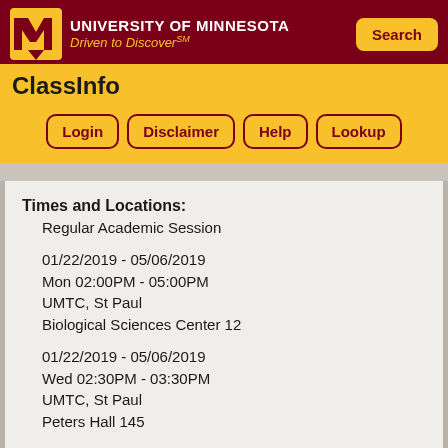University of Minnesota – Driven to Discover℠ | Search | ClassInfo | Login | Disclaimer | Help | Lookup
Times and Locations:
Regular Academic Session
01/22/2019 - 05/06/2019
Mon 02:00PM - 05:00PM
UMTC, St Paul
Biological Sciences Center 12
01/22/2019 - 05/06/2019
Wed 02:30PM - 03:30PM
UMTC, St Paul
Peters Hall 145
Enrollment Status:
Open (18 of 24 seats filled)
Also Offered:
Spring 2023